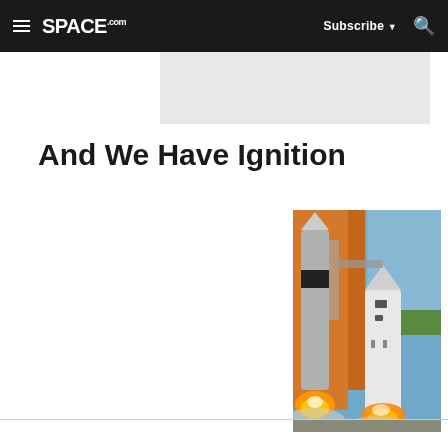SPACE.com — Subscribe | Search
And We Have Ignition
[Figure (photo): Space shuttle on launch pad at ignition — two solid rocket boosters and the orbiter visible with fire and smoke at the base, orange external tank in background, ocean horizon visible, photo taken from elevated angle on the launch structure.]